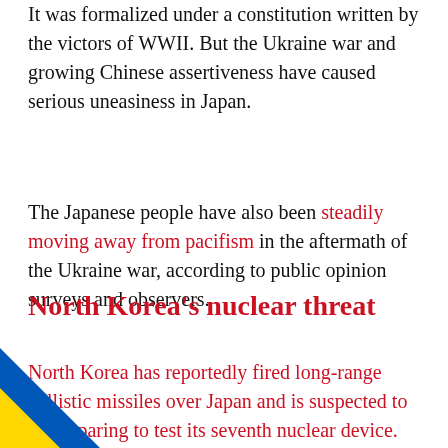It was formalized under a constitution written by the victors of WWII. But the Ukraine war and growing Chinese assertiveness have caused serious uneasiness in Japan.
The Japanese people have also been steadily moving away from pacifism in the aftermath of the Ukraine war, according to public opinion surveys and observers.
North Korea's nuclear threat
North Korea has reportedly fired long-range ballistic missiles over Japan and is suspected to be preparing to test its seventh nuclear device.
[Figure (illustration): Ukraine flag diagonal stripe decoration in bottom-left corner, blue and yellow diagonal bands]